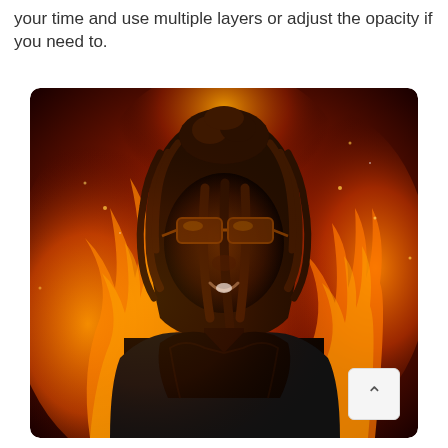your time and use multiple layers or adjust the opacity if you need to.
[Figure (illustration): Digital illustration of a person with braided hair and large sunglasses, wearing a dark hoodie and gold chain necklace, shown against a dramatic background of orange and red fire with sparks. The image has warm, dark tones with fire illuminating the subject from behind.]